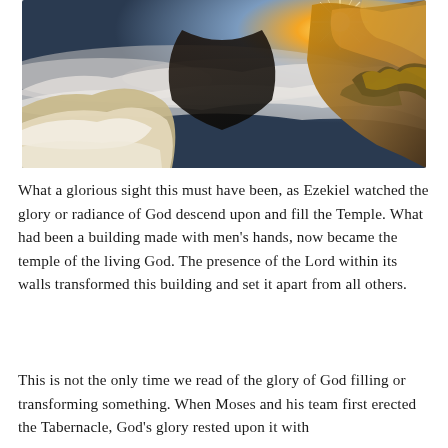[Figure (photo): Dramatic landscape photo showing rocky cliffs with clouds and sunburst breaking through at the top right, golden hour lighting illuminating frosted or snowy rocks in the foreground and a deep misty valley below]
What a glorious sight this must have been, as Ezekiel watched the glory or radiance of God descend upon and fill the Temple. What had been a building made with men’s hands, now became the temple of the living God. The presence of the Lord within its walls transformed this building and set it apart from all others.
This is not the only time we read of the glory of God filling or transforming something. When Moses and his team first erected the Tabernacle, God’s glory rested upon it with